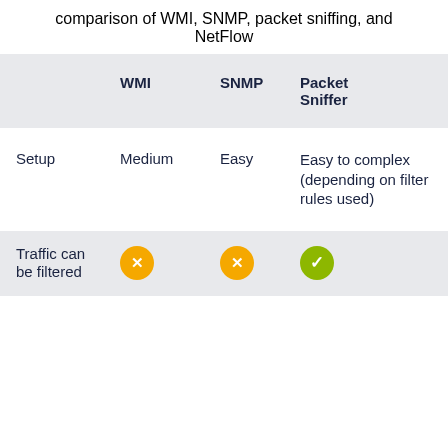comparison of WMI, SNMP, packet sniffing, and NetFlow
|  | WMI | SNMP | Packet Sniffer |
| --- | --- | --- | --- |
| Setup | Medium | Easy | Easy to complex (depending on filter rules used) |
| Traffic can be filtered | ✗ | ✗ | ✓ |